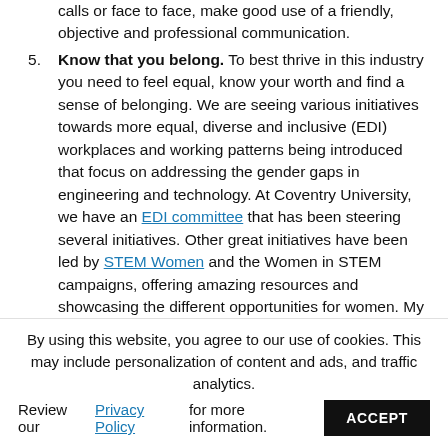calls or face to face, make good use of a friendly, objective and professional communication.
Know that you belong. To best thrive in this industry you need to feel equal, know your worth and find a sense of belonging. We are seeing various initiatives towards more equal, diverse and inclusive (EDI) workplaces and working patterns being introduced that focus on addressing the gender gaps in engineering and technology. At Coventry University, we have an EDI committee that has been steering several initiatives. Other great initiatives have been led by STEM Women and the Women in STEM campaigns, offering amazing resources and showcasing the different opportunities for women. My advice is to join societies and networks when you are studying at university and beyond from which you can learn about...
By using this website, you agree to our use of cookies. This may include personalization of content and ads, and traffic analytics. Review our Privacy Policy for more information.